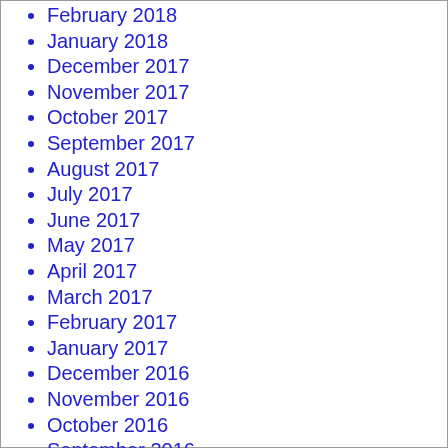February 2018
January 2018
December 2017
November 2017
October 2017
September 2017
August 2017
July 2017
June 2017
May 2017
April 2017
March 2017
February 2017
January 2017
December 2016
November 2016
October 2016
September 2016
August 2016
July 2016
June 2016
May 2016
April 2016